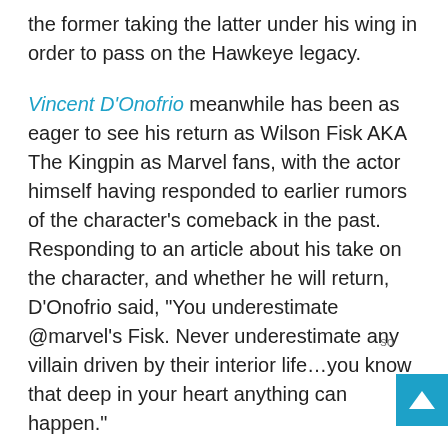the former taking the latter under his wing in order to pass on the Hawkeye legacy.
Vincent D'Onofrio meanwhile has been as eager to see his return as Wilson Fisk AKA The Kingpin as Marvel fans, with the actor himself having responded to earlier rumors of the character's comeback in the past. Responding to an article about his take on the character, and whether he will return, D'Onofrio said, “You underestimate @marvel’s Fisk. Never underestimate any villain driven by their interior life…you know that deep in your heart anything can happen.”
D’Onofrio has also stated that he would love to revive the character in a Joker-style standalone movie. “I think there’s more to do with him, but you just never know,” he said in a recent interview. “Because when I think of Marvel, I think of so many storylines, it’s like you think of DC, it’s the same thing. There are so many stories, I can’t imagine being in that chair...